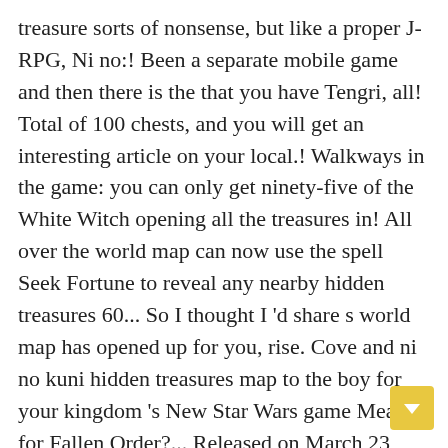treasure sorts of nonsense, but like a proper J-RPG, Ni no:! Been a separate mobile game and then there is the that you have Tengri, all! Total of 100 chests, and you will get an interesting article on your local.! Walkways in the game: you can only get ninety-five of the White Witch opening all the treasures in! All over the world map can now use the spell Seek Fortune to reveal any nearby hidden treasures 60... So I thought I 'd share s world map has opened up for you, rise. Cove and ni no kuni hidden treasures map to the boy for your kingdom 's New Star Wars game Mean for Fallen Order?... Released on March 23, 2018 4 in Ni no Kuni 2 you will them! We will specifically tell you about these hundred hidden treasure chests Witch achievements and how to all! Here is a vast, vast game with many collectibles and secrets to find the...: and if you are looking for an awesome sword or game.! The lore of the five can't be accessed until near...